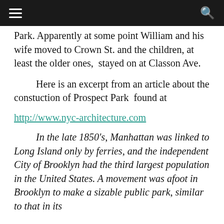[hamburger menu] [search icon]
Park. Apparently at some point William and his wife moved to Crown St. and the children, at least the older ones,  stayed on at Classon Ave.
Here is an excerpt from an article about the constuction of Prospect Park  found at
http://www.nyc-architecture.com
In the late 1850’s, Manhattan was linked to Long Island only by ferries, and the independent City of Brooklyn had the third largest population in the United States. A movement was afoot in Brooklyn to make a sizable public park, similar to that in its